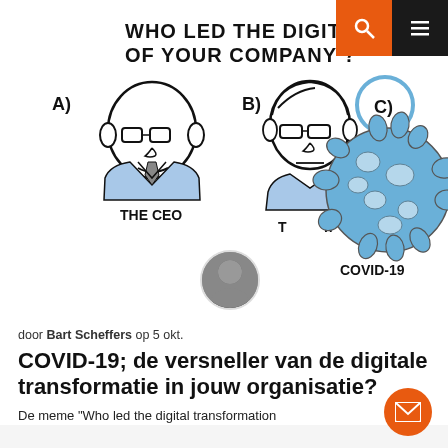[Figure (illustration): Cartoon meme showing three options A) The CEO (bald man in suit with glasses and tie), B) The CTO (man with hair and glasses), C) COVID-19 (coronavirus sphere with spikes, circled in blue) answering 'Who led the digital transformation of your company?']
door Bart Scheffers op 5 okt.
COVID-19; de versneller van de digitale transformatie in jouw organisatie?
De meme "Who led the digital transformation f... ...d #COVID